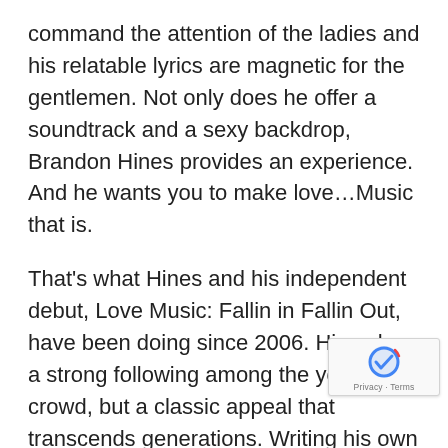command the attention of the ladies and his relatable lyrics are magnetic for the gentlemen. Not only does he offer a soundtrack and a sexy backdrop, Brandon Hines provides an experience. And he wants you to make love…Music that is.
That's what Hines and his independent debut, Love Music: Fallin in Fallin Out, have been doing since 2006. Hines has a strong following among the younger crowd, but a classic appeal that transcends generations. Writing his own lyrics since he was young, Brandon Hines developed a knack for composing songs that evoke emotion. The art of storytelling mixed with carefully placed rifts and background vocals, resulted in the no-holds-barred medleys that are edgy and honest.